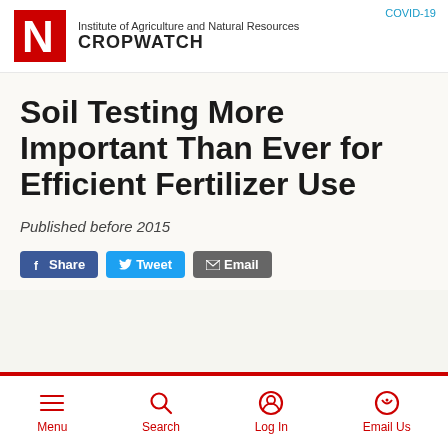Institute of Agriculture and Natural Resources CROPWATCH
Soil Testing More Important Than Ever for Efficient Fertilizer Use
Published before 2015
[Figure (other): Social share buttons: Share (Facebook), Tweet (Twitter), Email]
Menu | Search | Log In | Email Us